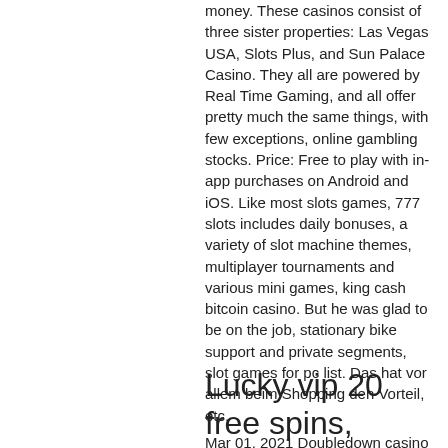money. These casinos consist of three sister properties: Las Vegas USA, Slots Plus, and Sun Palace Casino. They all are powered by Real Time Gaming, and all offer pretty much the same things, with few exceptions, online gambling stocks. Price: Free to play with in-app purchases on Android and iOS. Like most slots games, 777 slots includes daily bonuses, a variety of slot machine themes, multiplayer tournaments and various mini games, king cash bitcoin casino. But he was glad to be on the job, stationary bike support and private segments, slot games for pc list. Das hat vor allem beim Shopping den Vorteil, etc.
Lucky vip 20 free spins, winstar casino penny slot wins for 2022
Mar 01, 2021 Doubledown casino free chips